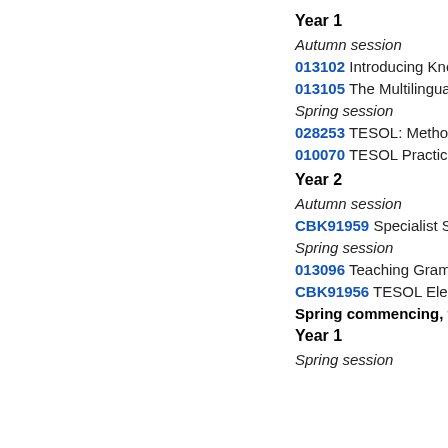Year 1
Autumn session
013102 Introducing Knowledge
013105 The Multilingual Learner
Spring session
028253 TESOL: Methodology
010070 TESOL Practicum
Year 2
Autumn session
CBK91959 Specialist Stream e
Spring session
013096 Teaching Grammar an
CBK91956 TESOL Electives 1
Spring commencing, full time
Year 1
Spring session